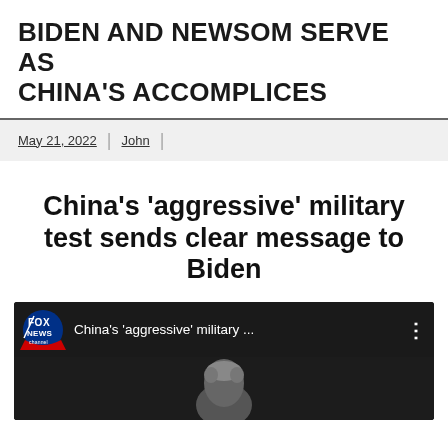BIDEN AND NEWSOM SERVE AS CHINA'S ACCOMPLICES
May 21, 2022 | John |
China's 'aggressive' military test sends clear message to Biden
[Figure (screenshot): Fox News video thumbnail showing text 'China's aggressive military ...' with Fox News channel logo and a dark image of a person below]